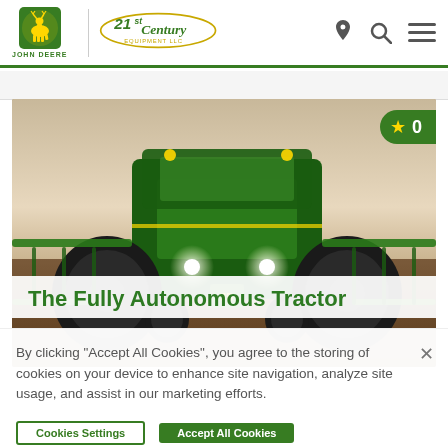[Figure (logo): John Deere logo: green leaping deer in yellow-green square with 'JOHN DEERE' text below, next to '21st Century Equipment LLC' logo in green and gold]
[Figure (photo): John Deere autonomous tractor front-facing view plowing field at dusk, headlights on, implements visible on sides]
The Fully Autonomous Tractor
By clicking “Accept All Cookies”, you agree to the storing of cookies on your device to enhance site navigation, analyze site usage, and assist in our marketing efforts.